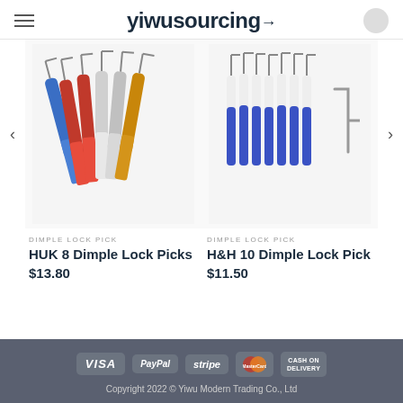yiwusourcing
[Figure (photo): HUK 8 Dimple Lock Picks product photo showing blue, red, silver, and gold colored picks]
[Figure (photo): H&H 10 Dimple Lock Pick product photo showing blue and white colored picks with tension tools]
DIMPLE LOCK PICK
HUK 8 Dimple Lock Picks
$13.80
DIMPLE LOCK PICK
H&H 10 Dimple Lock Pick
$11.50
VISA  PayPal  stripe  MasterCard  CASH ON DELIVERY
Copyright 2022 © Yiwu Modern Trading Co., Ltd